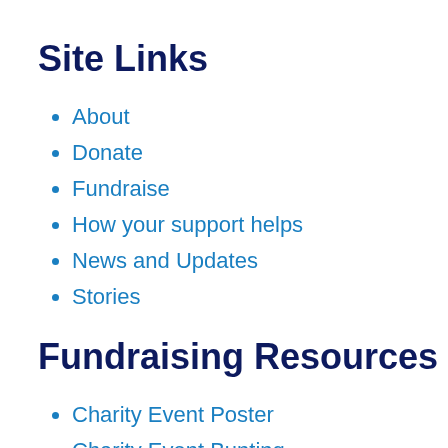Site Links
About
Donate
Fundraise
How your support helps
News and Updates
Stories
Fundraising Resources
Charity Event Poster
Charity Event Bunting
Fundraising Leaflet